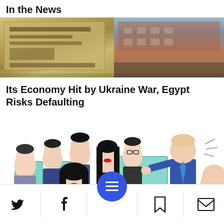In the News
[Figure (photo): A news photograph showing what appears to be a bulletin board or sign on the left, and a brick building with windows on the right.]
Its Economy Hit by Ukraine War, Egypt Risks Defaulting
[Figure (illustration): A cartoon illustration showing exaggerated caricatures of political figures seated and standing around chairs, with one tall figure in a blue suit gesturing, and another heavyset figure on the right.]
Navigation bar with Twitter, Facebook, menu, bookmark, and email icons